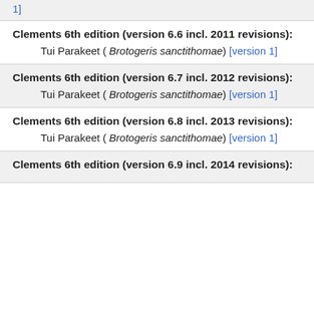1]
Clements 6th edition (version 6.6 incl. 2011 revisions):
Tui Parakeet ( Brotogeris sanctithomae) [version 1]
Clements 6th edition (version 6.7 incl. 2012 revisions):
Tui Parakeet ( Brotogeris sanctithomae) [version 1]
Clements 6th edition (version 6.8 incl. 2013 revisions):
Tui Parakeet ( Brotogeris sanctithomae) [version 1]
Clements 6th edition (version 6.9 incl. 2014 revisions):